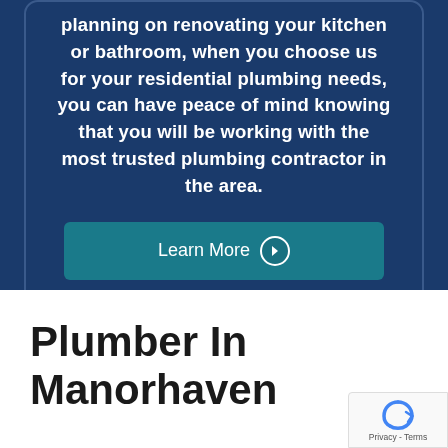planning on renovating your kitchen or bathroom, when you choose us for your residential plumbing needs, you can have peace of mind knowing that you will be working with the most trusted plumbing contractor in the area.
[Figure (other): Learn More button with right-arrow circle icon on dark teal background]
Plumber In Manorhaven
[Figure (other): reCAPTCHA badge with Privacy - Terms text]